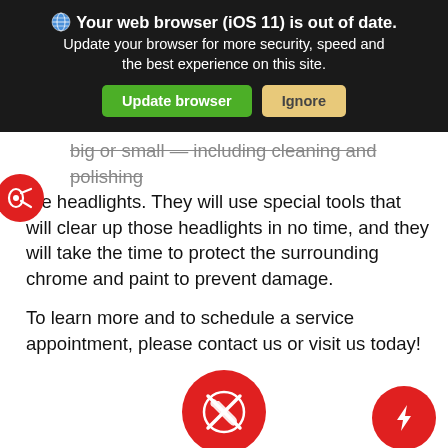[Figure (screenshot): Browser update notification banner with dark background showing 'Your web browser (iOS 11) is out of date.' with 'Update browser' (green) and 'Ignore' (tan) buttons]
big or small — including cleaning and polishing the headlights. They will use special tools that will clear up those headlights in no time, and they will take the time to protect the surrounding chrome and paint to prevent damage.
To learn more and to schedule a service appointment, please contact us or visit us today!
[Figure (illustration): Red circle icon with wrench/tools symbol (large, centered at bottom) and red circle icon with lightning bolt (smaller, bottom right)]